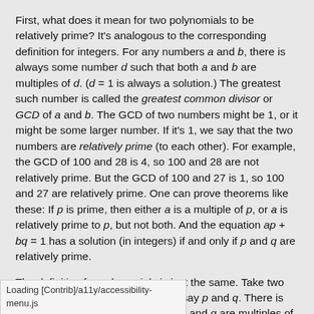First, what does it mean for two polynomials to be relatively prime? It's analogous to the corresponding definition for integers. For any numbers a and b, there is always some number d such that both a and b are multiples of d. (d = 1 is always a solution.) The greatest such number is called the greatest common divisor or GCD of a and b. The GCD of two numbers might be 1, or it might be some larger number. If it's 1, we say that the two numbers are relatively prime (to each other). For example, the GCD of 100 and 28 is 4, so 100 and 28 are not relatively prime. But the GCD of 100 and 27 is 1, so 100 and 27 are relatively prime. One can prove theorems like these: If p is prime, then either a is a multiple of p, or a is relatively prime to p, but not both. And the equation ap + bq = 1 has a solution (in integers) if and only if p and q are relatively prime.
The definition for polynomials is just the same. Take two polynomials over some variable x, say p and q. There is some polynomial d such that both p and q are multiples of d; d(x) = 1 is one such. When the only solutions are trivial polynomials like 1, we say that the polynomials are relatively prime. For example, consider x² + 2x + 1 ... so they are not
Loading [Contrib]/a11y/accessibility-menu.js